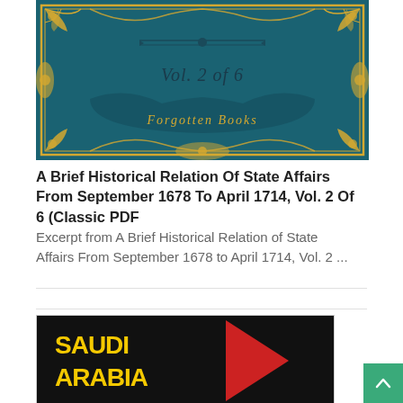[Figure (illustration): Book cover of 'A Brief Historical Relation Of State Affairs From September 1678 To April 1714, Vol. 2 of 6' published by Forgotten Books. Dark teal background with ornate gold floral border and gold decorative divider. Text 'Vol. 2 of 6' in gold italic serif font centered. 'Forgotten Books' in gold cursive at bottom.]
A Brief Historical Relation Of State Affairs From September 1678 To April 1714, Vol. 2 Of 6 (Classic PDF
Excerpt from A Brief Historical Relation of State Affairs From September 1678 to April 1714, Vol. 2 ...
[Figure (logo): Partial book cover or logo on black background showing yellow text 'SAUDI ARABIA' with a red geometric shape (triangle/arrow). Only partially visible at bottom of page.]